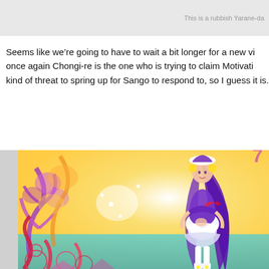This is a rubbish Yarane-da
Seems like we're going to have to wait a bit longer for a new vi once again Chongi-re is the one who is trying to claim Motivatio kind of threat to spring up for Sango to respond to, so I guess it is.
[Figure (illustration): Anime illustration of a magical girl character with long purple hair wearing a purple and white frilly dress and white hat, standing among colorful coral-like decorative elements in pink, purple, orange and yellow against a bright background with teal water.]